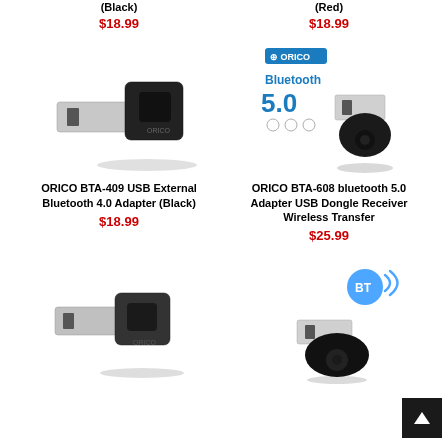(Black)
$18.99
(Red)
$18.99
[Figure (photo): ORICO BTA-409 USB External Bluetooth 4.0 Adapter (Black) - small black and silver USB dongle]
[Figure (photo): ORICO BTA-608 Bluetooth 5.0 USB Adapter with ORICO branding and Bluetooth 5.0 text overlay]
ORICO BTA-409 USB External Bluetooth 4.0 Adapter (Black)
$18.99
ORICO BTA-608 bluetooth 5.0 Adapter USB Dongle Receiver Wireless Transfer
$25.99
[Figure (photo): ORICO small dark grey/black USB Bluetooth adapter]
[Figure (photo): ORICO USB Bluetooth adapter with BT wireless logo badge]